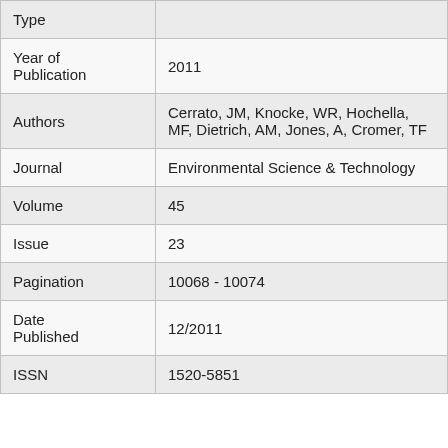| Field | Value |
| --- | --- |
| Type |  |
| Year of Publication | 2011 |
| Authors | Cerrato, JM, Knocke, WR, Hochella, MF, Dietrich, AM, Jones, A, Cromer, TF |
| Journal | Environmental Science & Technology |
| Volume | 45 |
| Issue | 23 |
| Pagination | 10068 - 10074 |
| Date Published | 12/2011 |
| ISSN | 1520-5851 |